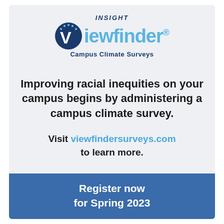[Figure (logo): INSIGHT Viewfinder Campus Climate Surveys logo with dark blue V circle icon and blue/dark wordmark]
Improving racial inequities on your campus begins by administering a campus climate survey.
Visit viewfindersurveys.com to learn more.
Register now for Spring 2023